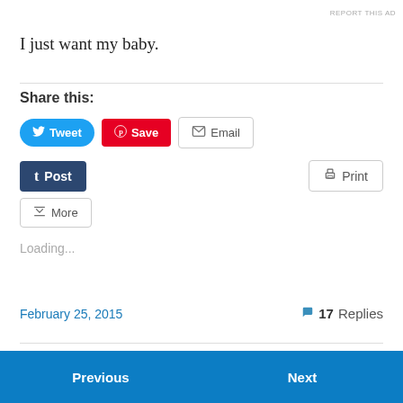REPORT THIS AD
I just want my baby.
Share this:
Tweet  Save  Email
Post  Print
More
Loading...
February 25, 2015
17 Replies
Previous
Next